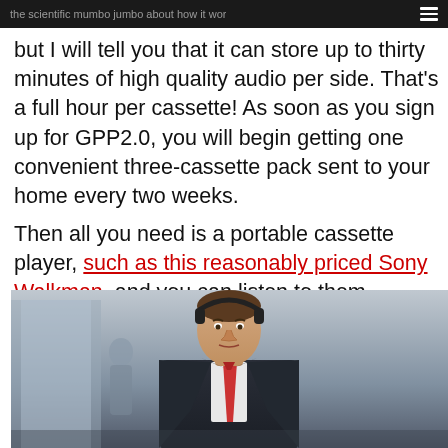the scientific mumbo jumbo about how it wor…
but I will tell you that it can store up to thirty minutes of high quality audio per side. That's a full hour per cassette! As soon as you sign up for GPP2.0, you will begin getting one convenient three-cassette pack sent to your home every two weeks.
Then all you need is a portable cassette player, such as this reasonably priced Sony Walkman, and you can listen to them wherever you go! It's that easy!
[Figure (photo): A man in a suit with headphones, standing in an office or hallway setting, resembling a scene from American Psycho.]